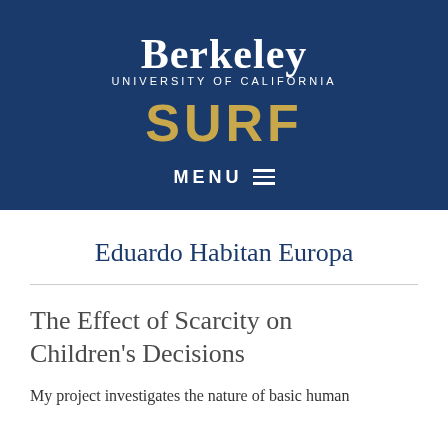[Figure (logo): UC Berkeley SURF program logo with dark navy blue banner, Berkeley wordmark in white, 'UNIVERSITY OF CALIFORNIA' in small white caps, 'SURF' in large gold letters, and a MENU navigation bar with hamburger icon below]
Eduardo Habitan Europa
The Effect of Scarcity on Children's Decisions
My project investigates the nature of basic human